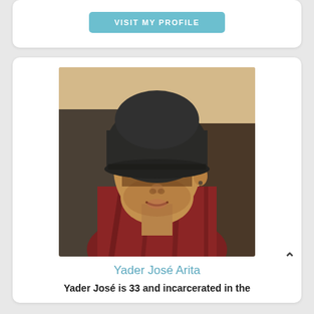[Figure (other): Button labeled VISIT MY PROFILE in teal/light blue on a white card]
[Figure (photo): Profile photo of Yader José Arita, a young man wearing a dark baseball cap and red flannel shirt with a bead necklace, looking at camera]
Yader José Arita
Yader José is 33 and incarcerated in the